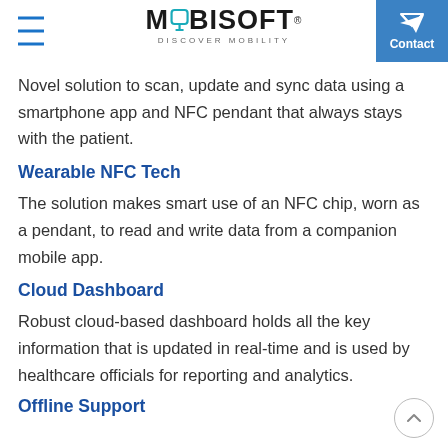MOBISOFT — DISCOVER MOBILITY
Novel solution to scan, update and sync data using a smartphone app and NFC pendant that always stays with the patient.
Wearable NFC Tech
The solution makes smart use of an NFC chip, worn as a pendant, to read and write data from a companion mobile app.
Cloud Dashboard
Robust cloud-based dashboard holds all the key information that is updated in real-time and is used by healthcare officials for reporting and analytics.
Offline Support